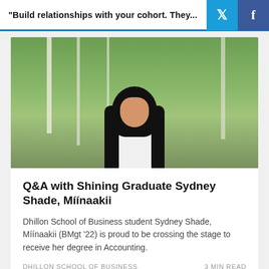"Build relationships with your cohort. They..."
[Figure (photo): Portrait photo of Sydney Shade, Míínaakii, a young woman with long dark hair wearing a white top, smiling outdoors with green trees in the background.]
Q&A with Shining Graduate Sydney Shade, Míínaakii
Dhillon School of Business student Sydney Shade, Míínaakii (BMgt '22) is proud to be crossing the stage to receive her degree in Accounting.
DHILLON SCHOOL OF BUSINESS    3 MIN READ